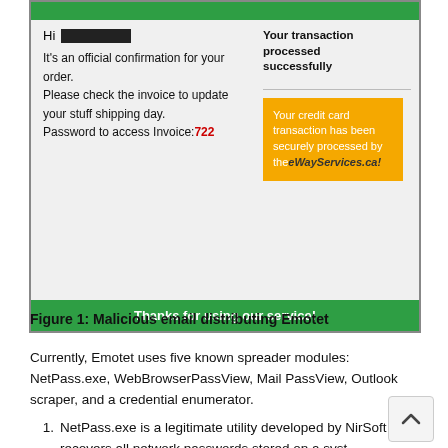[Figure (screenshot): Screenshot of a malicious phishing email. The email has a green header bar at the top, a two-column body section with a light grey background. The left column says 'Hi [REDACTED]' and contains text: 'It's an official confirmation for your order. Please check the invoice to update your stuff shipping day. Password to access Invoice: 722' (722 in red). The right column shows 'Your transaction processed successfully', a horizontal divider, and an orange box with text: 'Your credit card transaction has been securely processed by theeWayServices.ca!'. A green footer bar reads 'Thanks for using our service!'.]
Figure 1: Malicious email distributing Emotet
Currently, Emotet uses five known spreader modules: NetPass.exe, WebBrowserPassView, Mail PassView, Outlook scraper, and a credential enumerator.
NetPass.exe is a legitimate utility developed by NirSoft that recovers all network passwords stored on a system for the current logged-on user. This tool can also recover passwords stored in the credentials file of external drives.